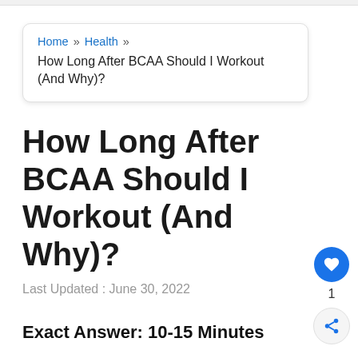Home » Health » How Long After BCAA Should I Workout (And Why)?
How Long After BCAA Should I Workout (And Why)?
Last Updated : June 30, 2022
Exact Answer: 10-15 Minutes